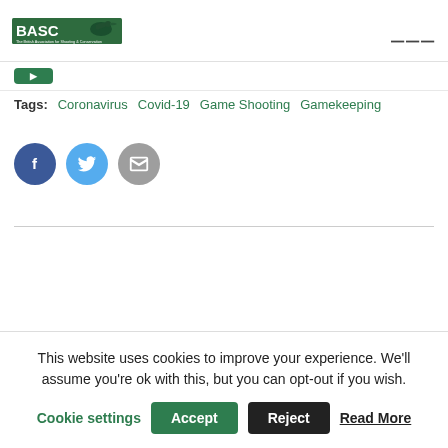[Figure (logo): BASC logo — The British Association for Shooting & Conservation, green background with white text and a bird silhouette]
Tags: Coronavirus   Covid-19   Game Shooting   Gamekeeping
[Figure (infographic): Three social share buttons: Facebook (dark blue circle with f icon), Twitter (light blue circle with bird icon), Email (grey circle with envelope icon)]
This website uses cookies to improve your experience. We'll assume you're ok with this, but you can opt-out if you wish.
Cookie settings   Accept   Reject   Read More